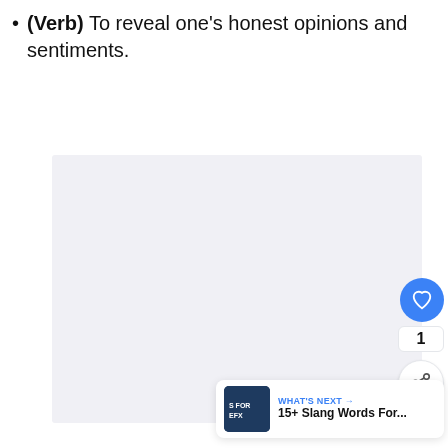(Verb) To reveal one's honest opinions and sentiments.
[Figure (other): A large light-gray placeholder content box, with a blue circular like button showing a heart icon, a count of 1, a share button, and a 'WHAT'S NEXT' card showing '15+ Slang Words For...' with a dark thumbnail.]